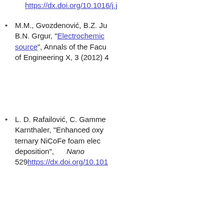https://dx.doi.org/10.1016/j.j (truncated)
M.M., Gvozdenović, B.Z. Ju... B.N. Grgur, "Electrochemic... source", Annals of the Facu... of Engineering X, 3 (2012) 4...
L. D. Rafailović, C. Gamme... Karnthaler, "Enhanced oxy... ternary NiCoFe foam elec... deposition", Nano 529https://dx.doi.org/10.101...
M.D. Spasojević, T.L. Trišov... "Development of RuO2/TiO:... chlorine generation", Hemijs... (doi:10.2298/HEMIND12041...
B. N. Grgur, A. R. Elkais, M... Z. Jugović, "Corrosion of m... different formulations", Pr... https://dx.doi.org/10.1016/j....
L.D. Rafailović, C. Gamm... Karnthaler, 2015, "Function... at the Anode during Simulta... Materials 27, https://dx.doi.org/10.1002/a...